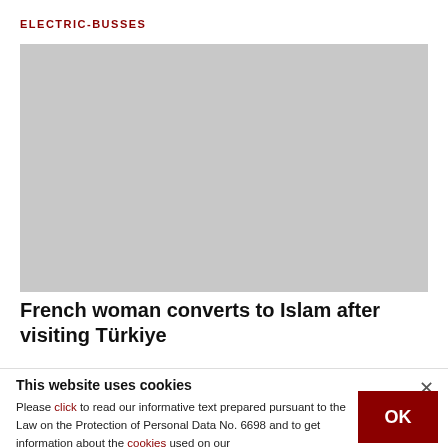ELECTRIC-BUSSES
[Figure (photo): A placeholder/loading image shown as a grey rectangle]
French woman converts to Islam after visiting Türkiye
This website uses cookies
×
Please click to read our informative text prepared pursuant to the Law on the Protection of Personal Data No. 6698 and to get information about the cookies used on our
OK